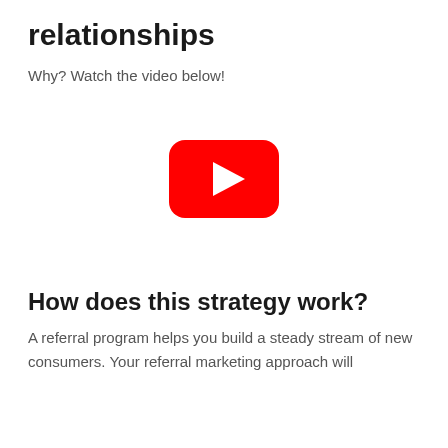relationships
Why? Watch the video below!
[Figure (other): YouTube play button icon — red rounded rectangle with white triangle play arrow in the center]
How does this strategy work?
A referral program helps you build a steady stream of new consumers. Your referral marketing approach will